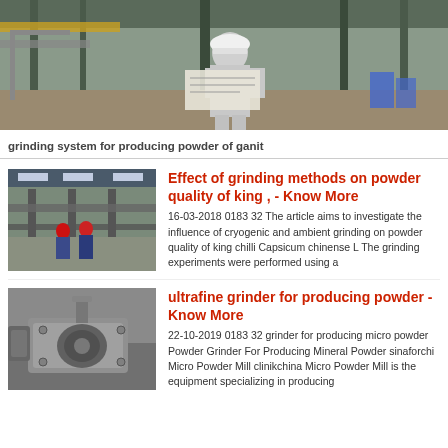[Figure (photo): Man in white hardhat and gray jumpsuit examining large paper/blueprint at an industrial mining or quarry site with steel structures and conveyor belts in background]
grinding system for producing powder of ganit
[Figure (photo): Interior of industrial processing facility with conveyor belts and workers with red hard hats visible]
Effect of grinding methods on powder quality of king , - Know More
16-03-2018 0183 32 The article aims to investigate the influence of cryogenic and ambient grinding on powder quality of king chilli Capsicum chinense L The grinding experiments were performed using a
[Figure (photo): Close-up of heavy industrial grinding mill or ultrafine grinder equipment on a workbench]
ultrafine grinder for producing powder - Know More
22-10-2019 0183 32 grinder for producing micro powder Powder Grinder For Producing Mineral Powder sinaforchi Micro Powder Mill clinikchina Micro Powder Mill is the equipment specializing in producing